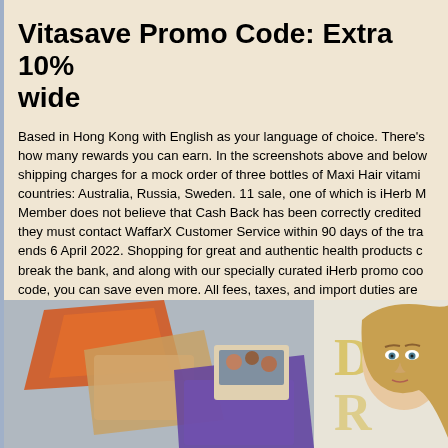Vitasave Promo Code: Extra 10% wide
Based in Hong Kong with English as your language of choice. There's how many rewards you can earn. In the screenshots above and below shipping charges for a mock order of three bottles of Maxi Hair vitami countries: Australia, Russia, Sweden. 11 sale, one of which is iHerb M Member does not believe that Cash Back has been correctly credited they must contact WaffarX Customer Service within 90 days of the tra ends 6 April 2022. Shopping for great and authentic health products c break the bank, and along with our specially curated iHerb promo coo code, you can save even more. All fees, taxes, and import duties are advance at the time of checkout to speed up customs clearance; ther any further payment at the time of delivery. 30 products limited time o Source. Copy this code and use at checkout. So, don't waste time an deals now.
[Figure (photo): Photo showing supplement/product packages on the left side and a woman with blonde hair and wide eyes on the right side, with text 'DO' visible in the background.]